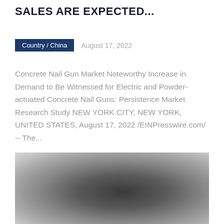SALES ARE EXPECTED...
Country / China   August 17, 2022
Concrete Nail Gun Market Noteworthy Increase in Demand to Be Witnessed for Electric and Powder-actuated Concrete Nail Guns: Persistence Market Research Study NEW YORK CITY, NEW YORK, UNITED STATES, August 17, 2022 /EINPresswire.com/ -- The...
[Figure (photo): Blurred/obscured image placeholder, grayscale gradient image]